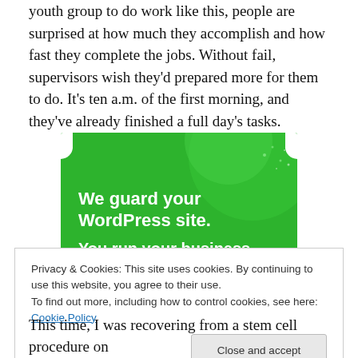youth group to do work like this, people are surprised at how much they accomplish and how fast they complete the jobs. Without fail, supervisors wish they'd prepared more for them to do. It's ten a.m. of the first morning, and they've already finished a full day's tasks.
[Figure (screenshot): Green advertisement banner reading 'We guard your WordPress site. You run your business.' on a bright green background with decorative circular shapes.]
Privacy & Cookies: This site uses cookies. By continuing to use this website, you agree to their use. To find out more, including how to control cookies, see here: Cookie Policy
This time, I was recovering from a stem cell procedure on